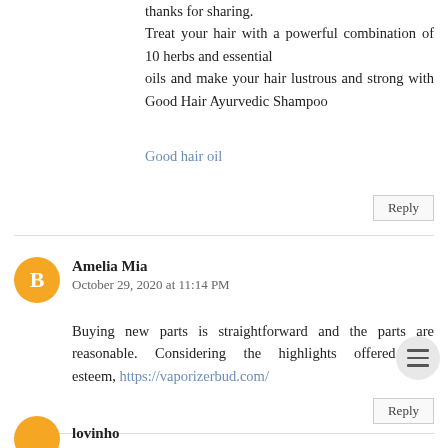thanks for sharing.
Treat your hair with a powerful combination of 10 herbs and essential oils and make your hair lustrous and strong with Good Hair Ayurvedic Shampoo
Good hair oil
Reply
Amelia Mia
October 29, 2020 at 11:14 PM
Buying new parts is straightforward and the parts are reasonable. Considering the highlights offered and esteem, https://vaporizerbud.com/
Reply
lovinho